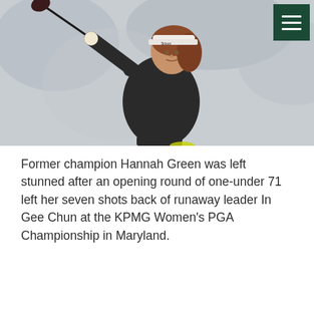[Figure (photo): A female golfer wearing a black jacket and white Srixon visor mid-swing with a driver against a blurred grey outdoor background]
Former champion Hannah Green was left stunned after an opening round of one-under 71 left her seven shots back of runaway leader In Gee Chun at the KPMG Women's PGA Championship in Maryland.